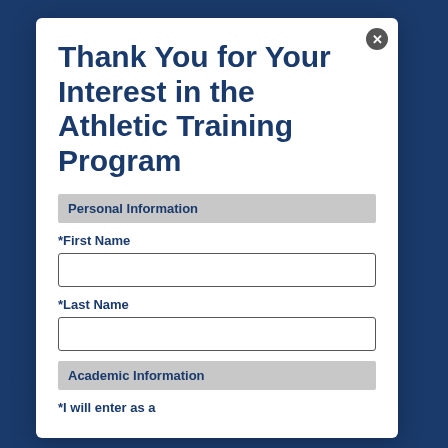Thank You for Your Interest in the Athletic Training Program
Personal Information
*First Name
*Last Name
Academic Information
*I will enter as a
M.S.